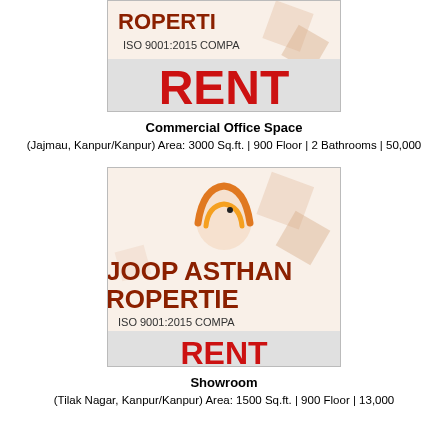[Figure (logo): Anoop Asthana Properties logo with RENT banner and ISO 9001:2015 company text - top listing (cropped at top)]
Commercial Office Space
(Jajmau, Kanpur/Kanpur) Area: 3000 Sq.ft. | 900 Floor | 2 Bathrooms | 50,000
[Figure (logo): Anoop Asthana Properties logo with RENT banner and ISO 9001:2015 company text - second listing]
Showroom
(Tilak Nagar, Kanpur/Kanpur) Area: 1500 Sq.ft. | 900 Floor | 13,000